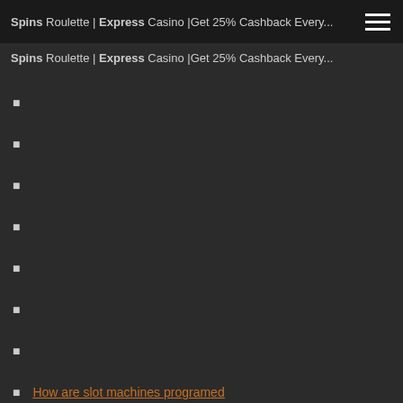Spins Roulette | Express Casino |Get 25% Cashback Every...
How are slot machines programed
500 club casino happy hour
Is being a poker dealer hard
Golden touch blackjack revolution download free
Parent trap poker and tricks
Closest casino to la puente ca